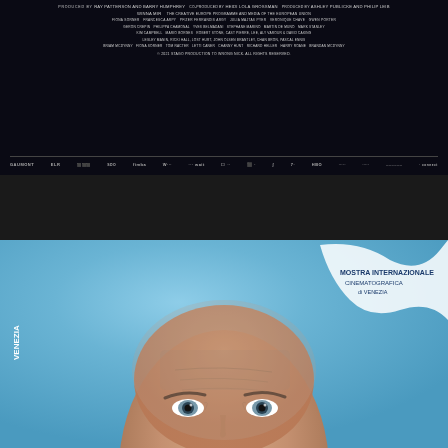[Figure (photo): Movie credits text on dark background showing production details, cast and crew names in small white text, followed by distributor logos bar at bottom]
[Figure (screenshot): Search bar / input field on dark gray background]
[Figure (photo): Close-up portrait photo of a bald middle-aged man with gray stubble, blue eyes, and wrinkled forehead, photographed against a blue background with Venice Film Festival logo visible]